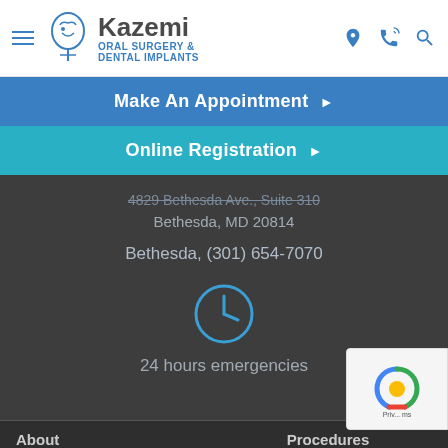[Figure (logo): Kazemi Oral Surgery & Dental Implants logo with face icon and hamburger menu, with location, phone, and search icons on right]
Make An Appointment ▶
Online Registration ▶
4829 Bethesda Ave., Suite 310
Bethesda, MD 20814
Bethesda, (301) 654-7070
[Figure (illustration): Clock icon in blue circle outline]
24 hours emergencies
About
Procedures